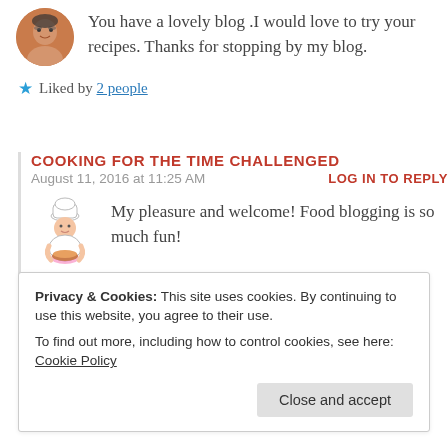[Figure (photo): Circular avatar photo of a person wearing glasses]
You have a lovely blog .I would love to try your recipes. Thanks for stopping by my blog.
★ Liked by 2 people
COOKING FOR THE TIME CHALLENGED
August 11, 2016 at 11:25 AM
LOG IN TO REPLY
[Figure (illustration): Cartoon chef illustration holding a bowl]
My pleasure and welcome! Food blogging is so much fun!
★ Like
Privacy & Cookies: This site uses cookies. By continuing to use this website, you agree to their use.
To find out more, including how to control cookies, see here: Cookie Policy